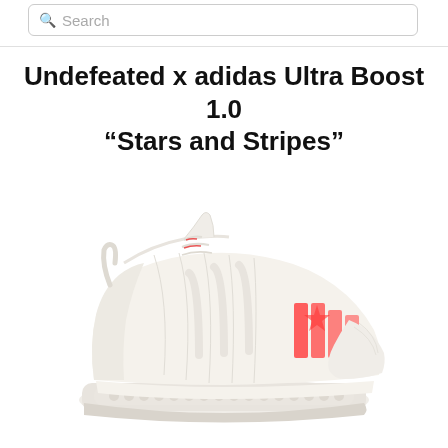Search
Undefeated x adidas Ultra Boost 1.0 “Stars and Stripes”
[Figure (photo): White adidas Ultra Boost 1.0 sneaker with red Undefeated logo on the heel area, shown in side profile on white background]